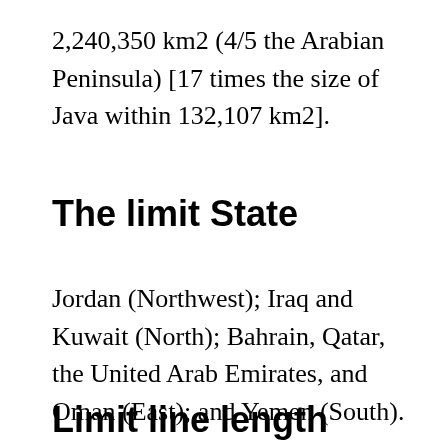2,240,350 km2 (4/5 the Arabian Peninsula) [17 times the size of Java within 132,107 km2].
The limit State
Jordan (Northwest); Iraq and Kuwait (North); Bahrain, Qatar, the United Arab Emirates, and Oman (East); and Yemen (South).
Limit line length